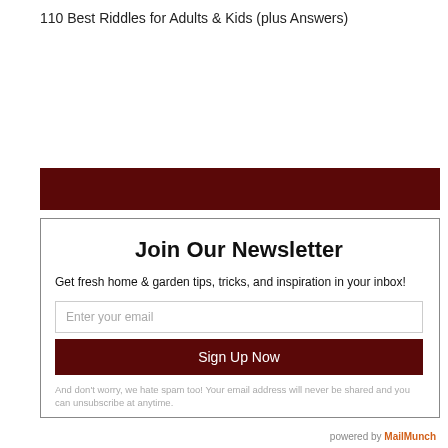110 Best Riddles for Adults & Kids (plus Answers)
[Figure (other): Dark red/maroon horizontal bar used as decorative separator]
Join Our Newsletter
Get fresh home & garden tips, tricks, and inspiration in your inbox!
Enter your email
Sign Up Now
And don't worry, we hate spam too! Your email address will never be shared and you can unsubscribe at anytime.
powered by MailMunch